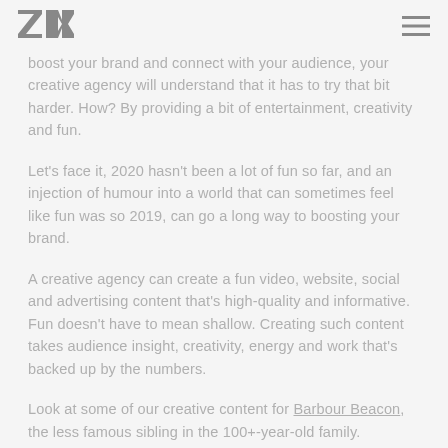ZAK logo and hamburger menu
boost your brand and connect with your audience, your creative agency will understand that it has to try that bit harder. How? By providing a bit of entertainment, creativity and fun.
Let's face it, 2020 hasn't been a lot of fun so far, and an injection of humour into a world that can sometimes feel like fun was so 2019, can go a long way to boosting your brand.
A creative agency can create a fun video, website, social and advertising content that's high-quality and informative. Fun doesn't have to mean shallow. Creating such content takes audience insight, creativity, energy and work that's backed up by the numbers.
Look at some of our creative content for Barbour Beacon, the less famous sibling in the 100+-year-old family.